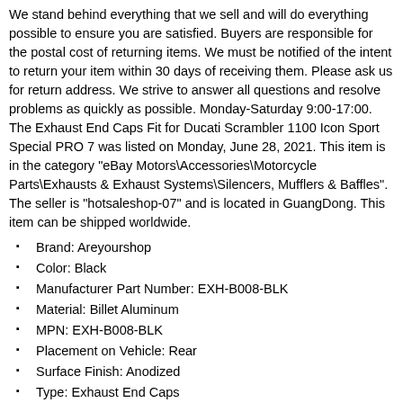We stand behind everything that we sell and will do everything possible to ensure you are satisfied. Buyers are responsible for the postal cost of returning items. We must be notified of the intent to return your item within 30 days of receiving them. Please ask us for return address. We strive to answer all questions and resolve problems as quickly as possible. Monday-Saturday 9:00-17:00. The Exhaust End Caps Fit for Ducati Scrambler 1100 Icon Sport Special PRO 7 was listed on Monday, June 28, 2021. This item is in the category "eBay Motors\Accessories\Motorcycle Parts\Exhausts & Exhaust Systems\Silencers, Mufflers & Baffles". The seller is "hotsaleshop-07" and is located in GuangDong. This item can be shipped worldwide.
Brand: Areyourshop
Color: Black
Manufacturer Part Number: EXH-B008-BLK
Material: Billet Aluminum
MPN: EXH-B008-BLK
Placement on Vehicle: Rear
Surface Finish: Anodized
Type: Exhaust End Caps
Warranty Terms: 6 Months